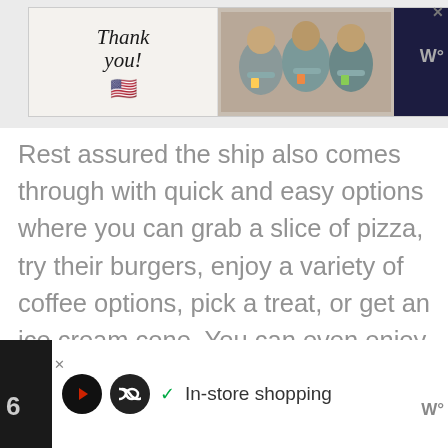[Figure (photo): Advertisement banner showing 'Thank you!' text with American flag imagery and Operation Gratitude logo with healthcare workers holding cards]
Rest assured the ship also comes through with quick and easy options where you can grab a slice of pizza, try their burgers, enjoy a variety of coffee options, pick a treat, or get an ice cream cone. You can even enjoy 24-hour complimentary in-room dining if you prefer a night in. Food on board the ship is plentiful and delicious!
[Figure (screenshot): Bottom advertisement bar showing 'In-store shopping' with navigation icons on dark background]